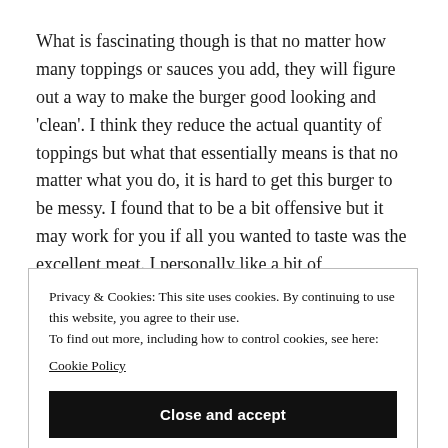What is fascinating though is that no matter how many toppings or sauces you add, they will figure out a way to make the burger good looking and ‘clean’. I think they reduce the actual quantity of toppings but what that essentially means is that no matter what you do, it is hard to get this burger to be messy. I found that to be a bit offensive but it may work for you if all you wanted to taste was the excellent meat. I personally like a bit of
Privacy & Cookies: This site uses cookies. By continuing to use this website, you agree to their use.
To find out more, including how to control cookies, see here:
Cookie Policy

[Close and accept]
b) Elevation burger. The Elevation Burger. AUD 55.